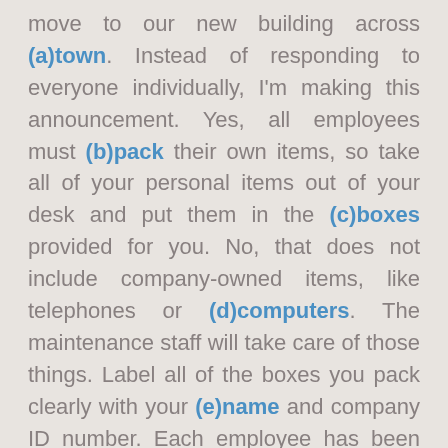move to our new building across (a)town. Instead of responding to everyone individually, I'm making this announcement. Yes, all employees must (b)pack their own items, so take all of your personal items out of your desk and put them in the (c)boxes provided for you. No, that does not include company-owned items, like telephones or (d)computers. The maintenance staff will take care of those things. Label all of the boxes you pack clearly with your (e)name and company ID number. Each employee has been given